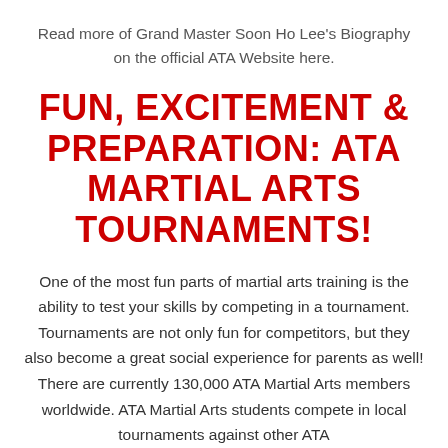Read more of Grand Master Soon Ho Lee's Biography on the official ATA Website here.
FUN, EXCITEMENT & PREPARATION: ATA MARTIAL ARTS TOURNAMENTS!
One of the most fun parts of martial arts training is the ability to test your skills by competing in a tournament. Tournaments are not only fun for competitors, but they also become a great social experience for parents as well! There are currently 130,000 ATA Martial Arts members worldwide. ATA Martial Arts students compete in local tournaments against other ATA